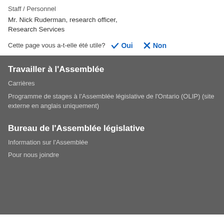Staff / Personnel
Mr. Nick Ruderman, research officer, Research Services
Cette page vous a-t-elle été utile?   ✔ Oui   ✗ Non
Travailler à l'Assemblée
Carrières
Programme de stages à l'Assemblée législative de l'Ontario (OLIP) (site externe en anglais uniquement)
Bureau de l'Assemblée législative
Information sur l'Assemblée
Pour nous joindre